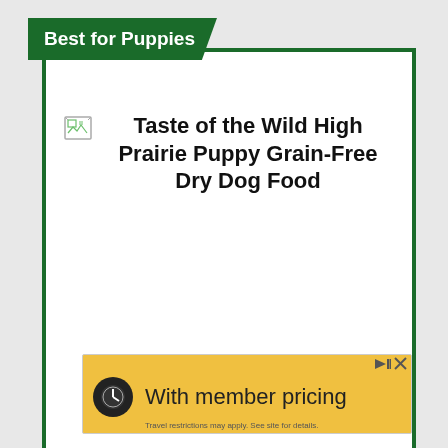Best for Puppies
[Figure (photo): Broken image placeholder icon for product photo]
Taste of the Wild High Prairie Puppy Grain-Free Dry Dog Food
[Figure (infographic): Advertisement banner: With member pricing. Travel restrictions may apply. See site for details.]